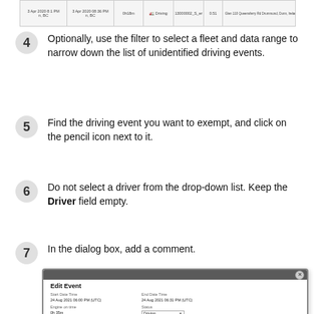[Figure (screenshot): Screenshot of a table row showing driving event data with columns for date/time, status, distance, and address information.]
4  Optionally, use the filter to select a fleet and data range to narrow down the list of unidentified driving events.
5  Find the driving event you want to exempt, and click on the pencil icon next to it.
6  Do not select a driver from the drop-down list. Keep the Driver field empty.
7  In the dialog box, add a comment.
[Figure (screenshot): Edit Event dialog box screenshot showing fields: Start Date Time (24 Aug 2021 06:00 PM UTC), End Date Time (24 Aug 2021 06:31 PM UTC), Engine on time (0h 35m), Status (Driving dropdown), Vehicle (00000002_michael), Miles (2.11), Location.]